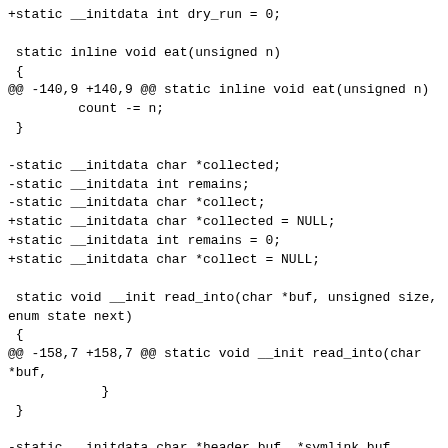+static __initdata int dry_run = 0;

 static inline void eat(unsigned n)
 {
@@ -140,9 +140,9 @@ static inline void eat(unsigned n)
         count -= n;
 }

-static __initdata char *collected;
-static __initdata int remains;
-static __initdata char *collect;
+static __initdata char *collected = NULL;
+static __initdata int remains = 0;
+static __initdata char *collect = NULL;

 static void __init read_into(char *buf, unsigned size,
enum state next)
 {
@@ -158,7 +158,7 @@ static void __init read_into(char
*buf,
            }
 }

-static __initdata char *header_buf, *symlink_buf,
*name_buf;
+static __initdata char *header_buf = NULL,
*symlink_buf = NULL,  *name_buf = NULL;

 static int __init do_start(void)
 {